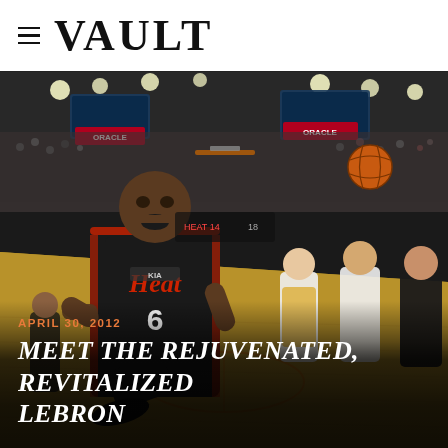VAULT
[Figure (photo): LeBron James wearing Miami Heat #6 jersey celebrating with mouth open after a dunk, airborne with knee raised, during a game against the Golden State Warriors at Oracle Arena. Other players and crowd visible in background.]
APRIL 30, 2012
MEET THE REJUVENATED, REVITALIZED LEBRON